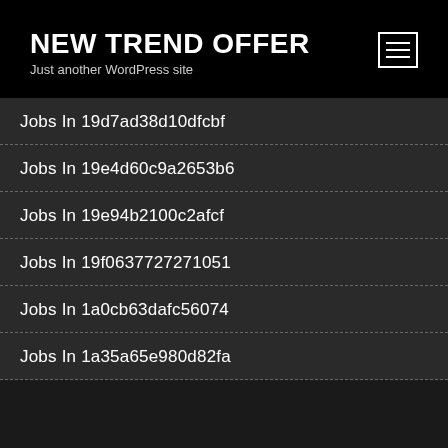NEW TREND OFFER
Just another WordPress site
Jobs In 19d7ad38d10dfcbf
Jobs In 19e4d60c9a2653b6
Jobs In 19e94b2100c2afcf
Jobs In 19f0637727271051
Jobs In 1a0cb63dafc56074
Jobs In 1a35a65e980d82fa